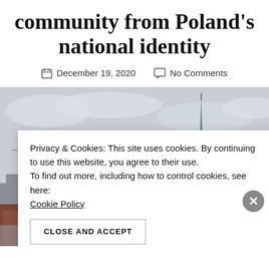community from Poland's national identity
December 19, 2020   No Comments
[Figure (photo): Warsaw skyline featuring the Palace of Culture and Science spire, with modern buildings and overcast sky, partially obscured by a cookie consent banner]
Privacy & Cookies: This site uses cookies. By continuing to use this website, you agree to their use.
To find out more, including how to control cookies, see here:
Cookie Policy
CLOSE AND ACCEPT